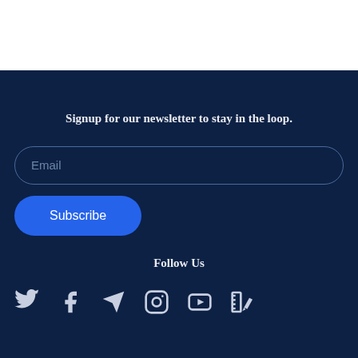Signup for our newsletter to stay in the loop.
[Figure (other): Email input field with rounded border placeholder text 'Email' on dark navy background]
[Figure (other): Blue rounded Subscribe button]
Follow Us
[Figure (other): Row of social media icons: Twitter, Facebook, Telegram, Instagram, YouTube, and a design/video app icon]